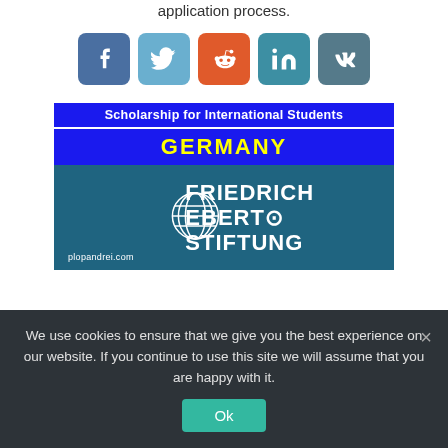application process.
[Figure (other): Row of 5 social media share buttons: Facebook (blue), Twitter (light blue), Reddit (orange), LinkedIn (teal), VK (dark teal)]
[Figure (other): Scholarship for International Students - GERMANY banner with Friedrich Ebert Stiftung logo on teal background, plopandrei.com watermark]
We use cookies to ensure that we give you the best experience on our website. If you continue to use this site we will assume that you are happy with it.